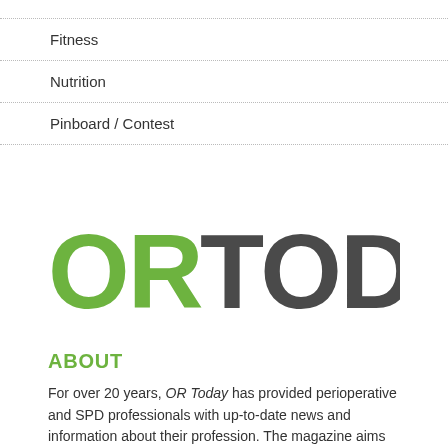Fitness
Nutrition
Pinboard / Contest
[Figure (logo): OR Today magazine logo — 'OR' in green, 'TODAY' in dark gray, large bold sans-serif lettering]
ABOUT
For over 20 years, OR Today has provided perioperative and SPD professionals with up-to-date news and information about their profession. The magazine aims to educate